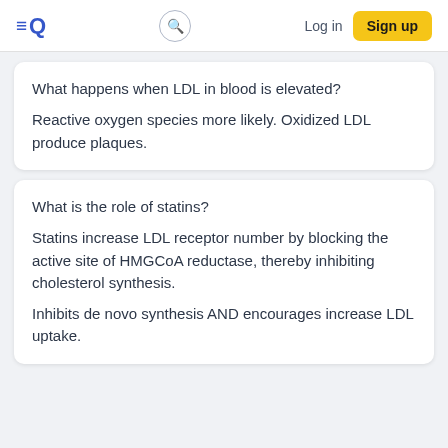≡Q  [search]  Log in  Sign up
What happens when LDL in blood is elevated?
Reactive oxygen species more likely. Oxidized LDL produce plaques.
What is the role of statins?
Statins increase LDL receptor number by blocking the active site of HMGCoA reductase, thereby inhibiting cholesterol synthesis.
Inhibits de novo synthesis AND encourages increase LDL uptake.